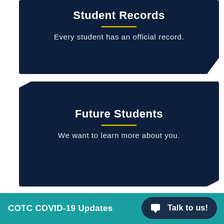Student Records
Every student has an official record.
Future Students
We want to learn more about you.
COTC COVID-19 Updates
Talk to us!